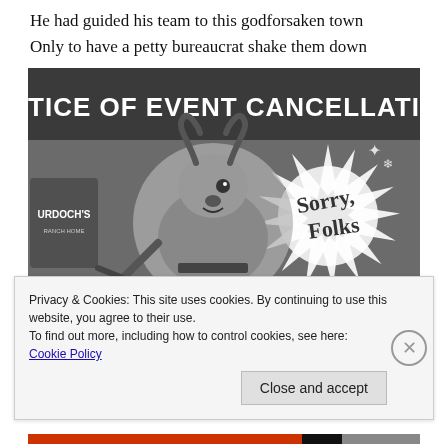He had guided his team to this godforsaken town
Only to have a petty bureaucrat shake them down
[Figure (photo): Grayscale image of a 'Notice of Event Cancellation' poster featuring a cartoon reindeer character with the text 'Sorry, Folks' and partial text 'The reindeer' at bottom. Murdoch's branding visible on left side.]
Privacy & Cookies: This site uses cookies. By continuing to use this website, you agree to their use.
To find out more, including how to control cookies, see here: Cookie Policy
Close and accept